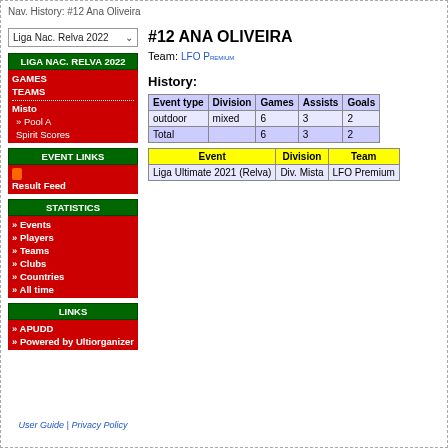Nav. History: #12 Ana Oliveira
Liga Nac. Relva 2022
LIGA NAC. RELVA 2022
GAMES
TEAMS
Misto
» Pool A
Spirit Scores
EVENT LINKS
Result Feed
STATISTICS
» Events
» Players
» Teams
» Clubs
» Countries
» All time
LINKS
» APUDD
» Powered by Ultiorganizer
#12 ANA OLIVEIRA
Team: LFO Premium
History:
| Event type | Division | Games | Assists | Goals |
| --- | --- | --- | --- | --- |
| outdoor | mixed | 6 | 3 | 2 |
| Total |  | 6 | 3 | 2 |
| Event | Division | Team |
| --- | --- | --- |
| Liga Ultimate 2021 (Relva) | Div. Mista | LFO Premium |
User Guide | Privacy Policy